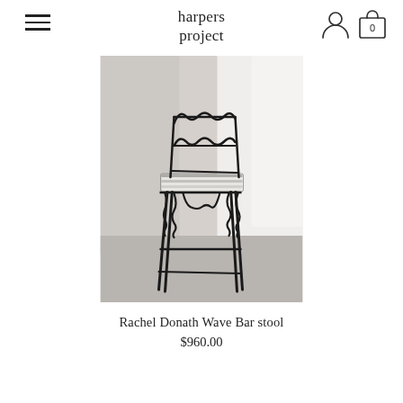harpers project
[Figure (photo): A black metal wire bar stool with decorative wave/squiggle pattern on the backrest and apron, with a white striped cushion seat, photographed against a white and light grey studio background with concrete floor.]
Rachel Donath Wave Bar stool
$960.00